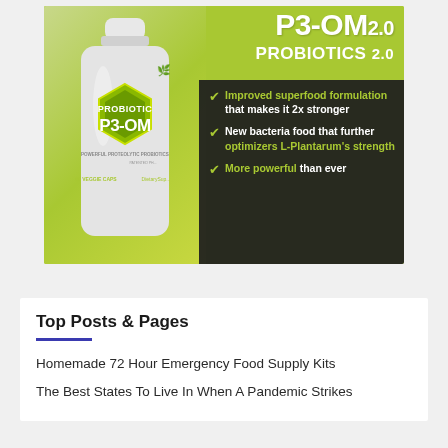[Figure (photo): P3-OM Probiotics 2.0 product advertisement showing a supplement bottle on a green background with dark panel listing features: Improved superfood formulation that makes it 2x stronger, New bacteria food that further optimizers L-Plantarum's strength, More powerful than ever]
Top Posts & Pages
Homemade 72 Hour Emergency Food Supply Kits
The Best States To Live In When A Pandemic Strikes